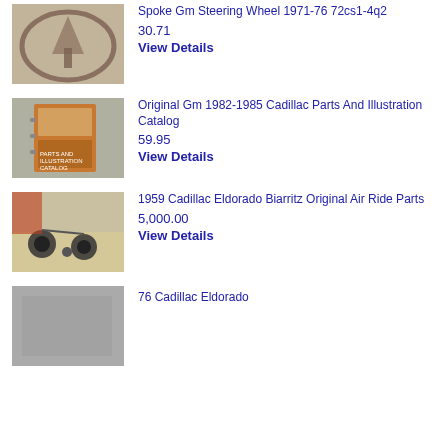[Figure (photo): Photo of a Spoke GM Steering Wheel]
Spoke Gm Steering Wheel 1971-76 72cs1-4q2
30.71
View Details
[Figure (photo): Photo of a GM Cadillac Parts and Illustration Catalog book]
Original Gm 1982-1985 Cadillac Parts And Illustration Catalog
59.95
View Details
[Figure (photo): Photo of 1959 Cadillac Eldorado Biarritz Original Air Ride Parts on a table]
1959 Cadillac Eldorado Biarritz Original Air Ride Parts
5,000.00
View Details
[Figure (photo): Partial photo of a 76 Cadillac Eldorado item]
76 Cadillac Eldorado